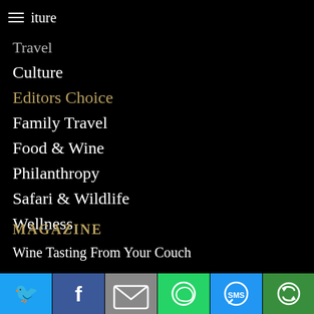iture
Travel
Culture
Editors Choice
Family Travel
Food & Wine
Philanthropy
Safari & Wildlife
Wellness
MAGAZINE
Wine Tasting From Your Couch
[Figure (other): Social share bar with Twitter, Facebook, Email, WhatsApp, SMS, and More buttons]